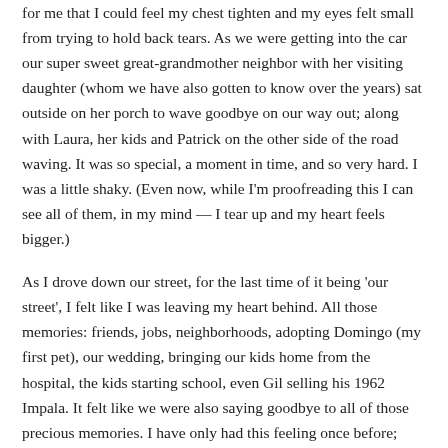for me that I could feel my chest tighten and my eyes felt small from trying to hold back tears. As we were getting into the car our super sweet great-grandmother neighbor with her visiting daughter (whom we have also gotten to know over the years) sat outside on her porch to wave goodbye on our way out; along with Laura, her kids and Patrick on the other side of the road waving. It was so special, a moment in time, and so very hard. I was a little shaky. (Even now, while I'm proofreading this I can see all of them, in my mind — I tear up and my heart feels bigger.)
As I drove down our street, for the last time of it being 'our street', I felt like I was leaving my heart behind. All those memories: friends, jobs, neighborhoods, adopting Domingo (my first pet), our wedding, bringing our kids home from the hospital, the kids starting school, even Gil selling his 1962 Impala. It felt like we were also saying goodbye to all of those precious memories. I have only had this feeling once before; when going back to my childhood home for the first time, seeing it from a distance, only to stare and cry that deep sense of sadness and longing for it all to return.